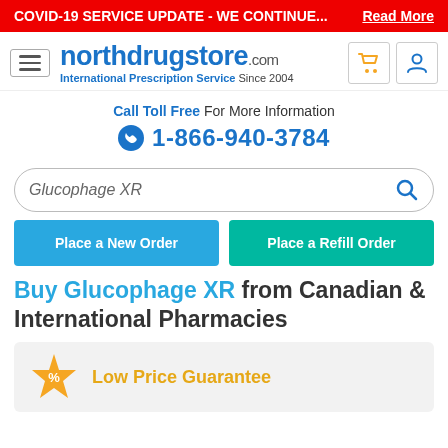COVID-19 SERVICE UPDATE - WE CONTINUE... Read More
[Figure (logo): northdrugstore.com logo with International Prescription Service Since 2004]
Call Toll Free For More Information
1-866-940-3784
Glucophage XR (search bar)
Place a New Order | Place a Refill Order
Buy Glucophage XR from Canadian & International Pharmacies
Low Price Guarantee